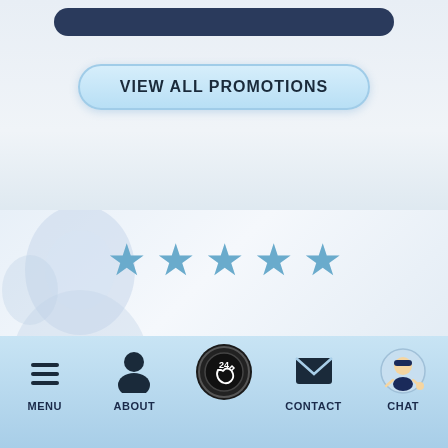[Figure (screenshot): Dark rounded bar at top of page, partially visible]
[Figure (illustration): Rounded pill-shaped button with light blue gradient background reading VIEW ALL PROMOTIONS in bold dark text]
[Figure (photo): Background section with blurred image of a woman with white/blonde hair and glasses, overlaid with 5 blue stars and cursive text 'A Word From Our Customers']
A Word From Our Customers
[Figure (illustration): Mobile navigation bar with light blue background containing icons and labels: MENU (hamburger), ABOUT (person), 24-hour phone circle button, CONTACT (envelope), CHAT (technician cartoon)]